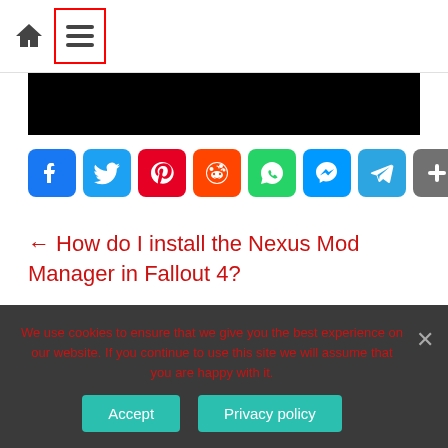[home icon] [hamburger menu icon]
[Figure (photo): Black banner image area]
[Figure (infographic): Social share buttons: Facebook, Twitter, Pinterest, Reddit, WhatsApp, Messenger, Telegram, Share]
← How do I install the Nexus Mod Manager in Fallout 4?
We use cookies to ensure that we give you the best experience on our website. If you continue to use this site we will assume that you are happy with it.
Accept   Privacy policy